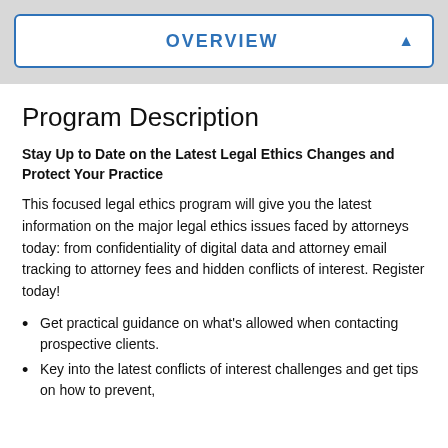OVERVIEW
Program Description
Stay Up to Date on the Latest Legal Ethics Changes and Protect Your Practice
This focused legal ethics program will give you the latest information on the major legal ethics issues faced by attorneys today: from confidentiality of digital data and attorney email tracking to attorney fees and hidden conflicts of interest. Register today!
Get practical guidance on what's allowed when contacting prospective clients.
Key into the latest conflicts of interest challenges and get tips on how to prevent,